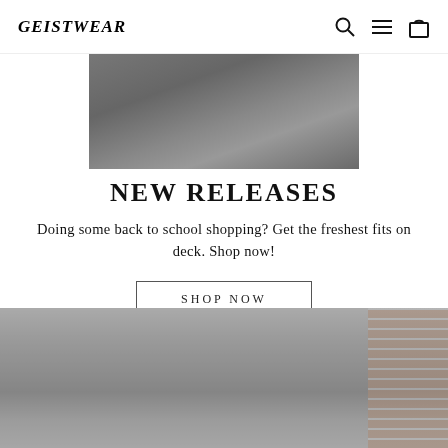GEISTWEAR
[Figure (photo): Top portion of a dark grey fabric/clothing item, cropped at the bottom.]
NEW RELEASES
Doing some back to school shopping? Get the freshest fits on deck. Shop now!
SHOP NOW
[Figure (photo): Group of young people standing outside a building with brick walls, some wearing branded t-shirts.]